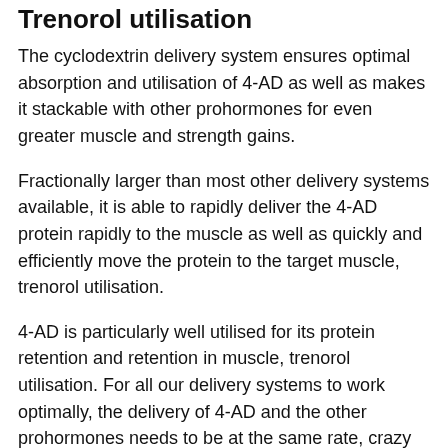Trenorol utilisation
The cyclodextrin delivery system ensures optimal absorption and utilisation of 4-AD as well as makes it stackable with other prohormones for even greater muscle and strength gains.
Fractionally larger than most other delivery systems available, it is able to rapidly deliver the 4-AD protein rapidly to the muscle as well as quickly and efficiently move the protein to the target muscle, trenorol utilisation.
4-AD is particularly well utilised for its protein retention and retention in muscle, trenorol utilisation. For all our delivery systems to work optimally, the delivery of 4-AD and the other prohormones needs to be at the same rate, crazy bulk trenorol before and after. The higher the degree of concentration of the prohormone, the quicker the delivery. This